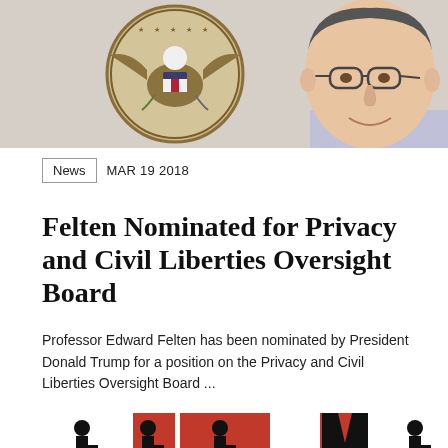[Figure (photo): Photo of Professor Edward Felten smiling, wearing glasses, with the Great Seal of the United States visible in the background]
News   MAR 19 2018
Felten Nominated for Privacy and Civil Liberties Oversight Board
Professor Edward Felten has been nominated by President Donald Trump for a position on the Privacy and Civil Liberties Oversight Board ...
[Figure (illustration): Graphic illustration showing silhouetted figures against red and white background panels]